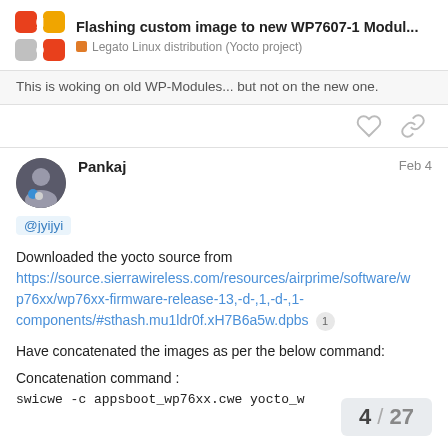Flashing custom image to new WP7607-1 Modul... — Legato Linux distribution (Yocto project)
This is woking on old WP-Modules... but not on the new one.
Pankaj   Feb 4
@jyijyi
Downloaded the yocto source from https://source.sierrawireless.com/resources/airprime/software/wp76xx/wp76xx-firmware-release-13,-d-,1,-d-,1-components/#sthash.mu1ldr0f.xH7B6a5w.dpbs 1
Have concatenated the images as per the below command:
Concatenation command :
swicwe -c appsboot_wp76xx.cwe yocto_w
4 / 27